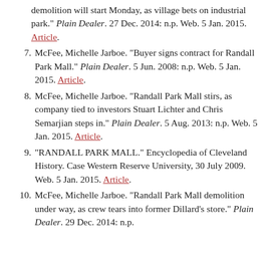(continuation) demolition will start Monday, as village bets on industrial park." Plain Dealer. 27 Dec. 2014: n.p. Web. 5 Jan. 2015. Article.
7. McFee, Michelle Jarboe. "Buyer signs contract for Randall Park Mall." Plain Dealer. 5 Jun. 2008: n.p. Web. 5 Jan. 2015. Article.
8. McFee, Michelle Jarboe. "Randall Park Mall stirs, as company tied to investors Stuart Lichter and Chris Semarjian steps in." Plain Dealer. 5 Aug. 2013: n.p. Web. 5 Jan. 2015. Article.
9. "RANDALL PARK MALL." Encyclopedia of Cleveland History. Case Western Reserve University, 30 July 2009. Web. 5 Jan. 2015. Article.
10. McFee, Michelle Jarboe. "Randall Park Mall demolition under way, as crew tears into former Dillard's store." Plain Dealer. 29 Dec. 2014: n.p.